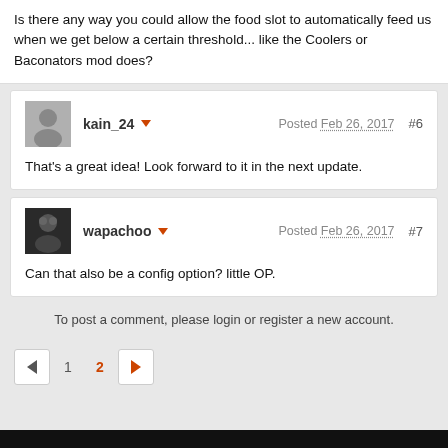Is there any way you could allow the food slot to automatically feed us when we get below a certain threshold... like the Coolers or Baconators mod does?
kain_24 | Posted Feb 26, 2017 | #6 | That's a great idea! Look forward to it in the next update.
wapachoo | Posted Feb 26, 2017 | #7 | Can that also be a config option? little OP.
To post a comment, please login or register a new account.
Pagination: ◄ 1 2 ►